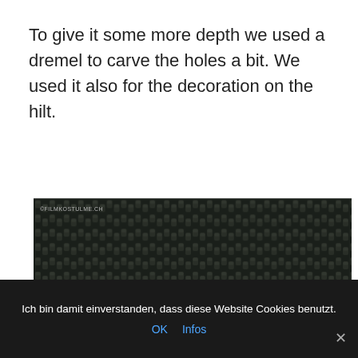To give it some more depth we used a dremel to carve the holes a bit. We used it also for the decoration on the hilt.
[Figure (photo): Close-up photo of a dark woven/mesh material with a diagonal wooden beam or hilt visible in the lower-left corner. Watermark reads ©FILMKOSTULME.CH]
Ich bin damit einverstanden, dass diese Website Cookies benutzt.
OK  Infos